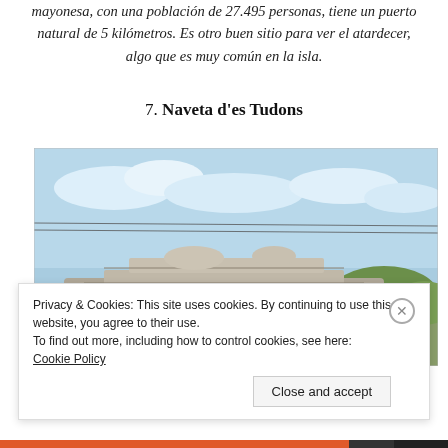mayonesa, con una población de 27.495 personas, tiene un puerto natural de 5 kilómetros. Es otro buen sitio para ver el atardecer, algo que es muy común en la isla.
7. Naveta d'es Tudons
[Figure (photo): Photograph of Naveta d'es Tudons, an ancient megalithic stone monument (naveta) with layered limestone blocks under a blue sky with light clouds and green shrubs visible in the background.]
Privacy & Cookies: This site uses cookies. By continuing to use this website, you agree to their use.
To find out more, including how to control cookies, see here: Cookie Policy